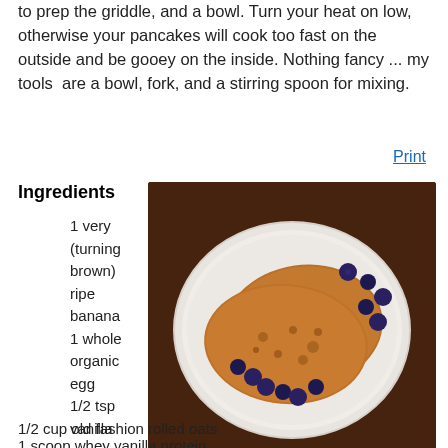to prep the griddle, and a bowl. Turn your heat on low, otherwise your pancakes will cook too fast on the outside and be gooey on the inside. Nothing fancy ... my tools  are a bowl, fork, and a stirring spoon for mixing.
Print
Ingredients
[Figure (photo): A white plate with two golden-brown oat pancakes topped with fresh blueberries, on a dark wooden table.]
1 very (turning brown) ripe banana
1 whole organic egg
1/2 tsp vanilla
1/2 cup old fashion rolled oats
1 scoop whey vanilla protein